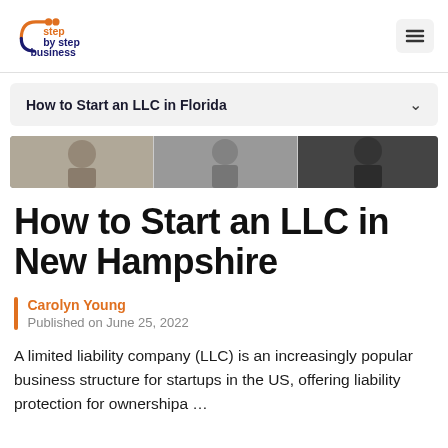step by step business
How to Start an LLC in Florida
[Figure (photo): Banner photo of people working at a desk, business meeting scene]
How to Start an LLC in New Hampshire
Carolyn Young
Published on June 25, 2022
A limited liability company (LLC) is an increasingly popular business structure for startups in the US, offering liability protection for ownershipa …